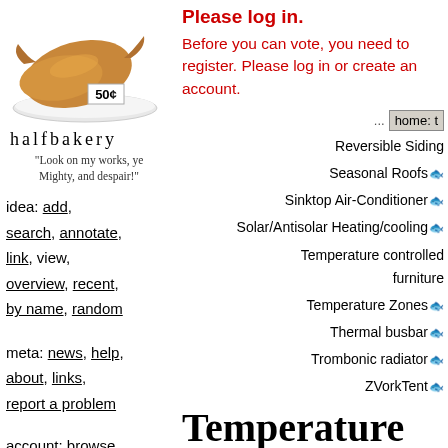[Figure (photo): Croissants on a white plate with a 50¢ price tag]
halfbakery
"Look on my works, ye Mighty, and despair!"
Please log in. Before you can vote, you need to register. Please log in or create an account.
idea: add, search, annotate, link, view, overview, recent, by name, random
meta: news, help, about, links, report a problem
account: browse anonymously, or get an account and write
...
Reversible Siding
Seasonal Roofs
Sinktop Air-Conditioner
Solar/Antisolar Heating/cooling
Temperature controlled furniture
Temperature Zones
Thermal busbar
Trombonic radiator
ZVorkTent
Temperature controlled furniture
A heat exchanger in your furniture